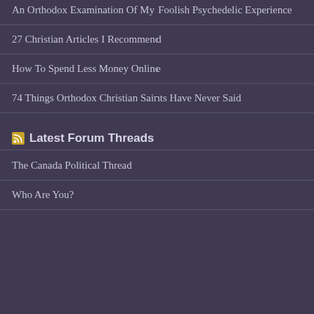An Orthodox Examination Of My Foolish Psychedelic Experience
27 Christian Articles I Recommend
How To Spend Less Money Online
74 Things Orthodox Christian Saints Have Never Said
Latest Forum Threads
The Canada Political Thread
Who Are You?